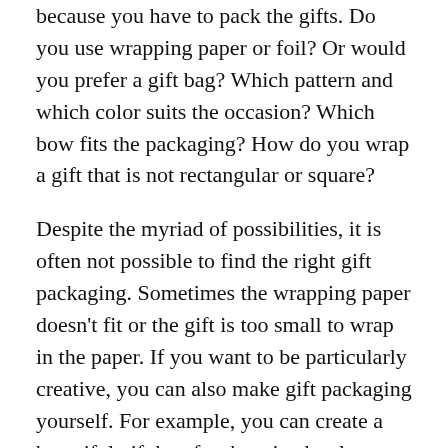because you have to pack the gifts. Do you use wrapping paper or foil? Or would you prefer a gift bag? Which pattern and which color suits the occasion? Which bow fits the packaging? How do you wrap a gift that is not rectangular or square?
Despite the myriad of possibilities, it is often not possible to find the right gift packaging. Sometimes the wrapping paper doesn't fit or the gift is too small to wrap in the paper. If you want to be particularly creative, you can also make gift packaging yourself. For example, you can create a beautiful gift bag for the wine bottle or make kids' birthday present become a sweet panda.
In addition, you can also make a nice packaging for money gifts if you find an envelope too boring. It is very easy to use everyday objects such as an empty